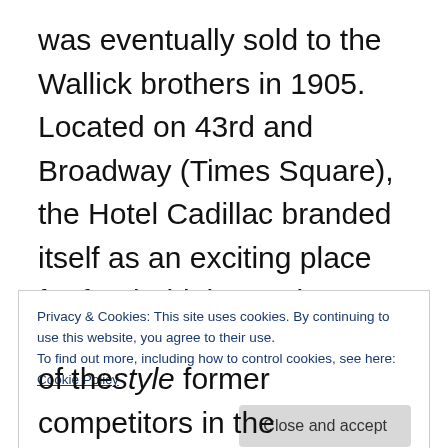was eventually sold to the Wallick brothers in 1905. Located on 43rd and Broadway (Times Square), the Hotel Cadillac branded itself as an exciting place for food, drinks, and entertainment. In 1913 the Wallick Brothers changed the name to “Hotel Wallick”, and relaunched the hotel where It became famous for its burlesque and cabaret shows. Unlike other New York
Privacy & Cookies: This site uses cookies. By continuing to use this website, you agree to their use.
To find out more, including how to control cookies, see here: Cookie Policy
Close and accept
of the style former competitors in the